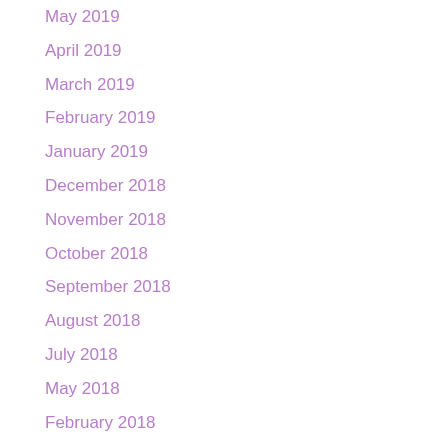May 2019
April 2019
March 2019
February 2019
January 2019
December 2018
November 2018
October 2018
September 2018
August 2018
July 2018
May 2018
February 2018
January 2018
November 2017